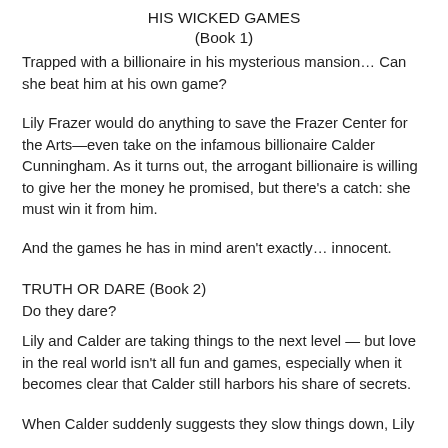HIS WICKED GAMES
(Book 1)
Trapped with a billionaire in his mysterious mansion… Can she beat him at his own game?
Lily Frazer would do anything to save the Frazer Center for the Arts—even take on the infamous billionaire Calder Cunningham. As it turns out, the arrogant billionaire is willing to give her the money he promised, but there's a catch: she must win it from him.
And the games he has in mind aren't exactly… innocent.
TRUTH OR DARE (Book 2)
Do they dare?
Lily and Calder are taking things to the next level — but love in the real world isn't all fun and games, especially when it becomes clear that Calder still harbors his share of secrets.
When Calder suddenly suggests they slow things down, Lily